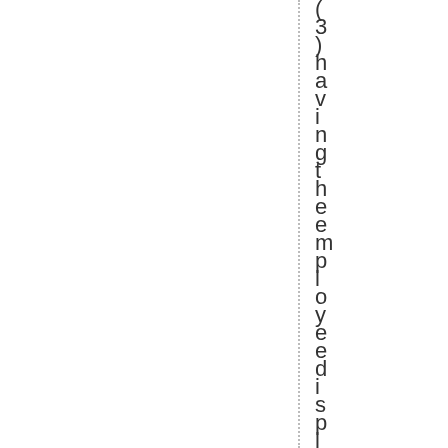(3) having the employee display, gr